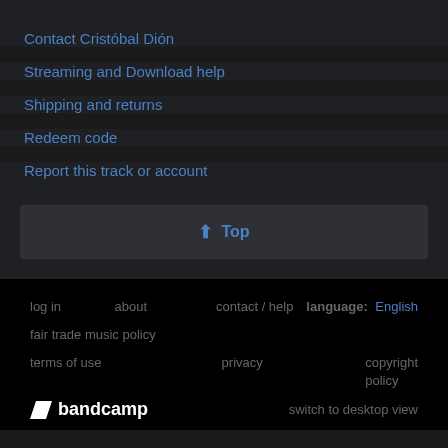Contact Cristóbal Dión
Streaming and Download help
Shipping and returns
Redeem code
Report this track or account
↑ Top
log in   about   contact / help   language: English   fair trade music policy   terms of use   privacy   copyright policy   bandcamp   switch to desktop view